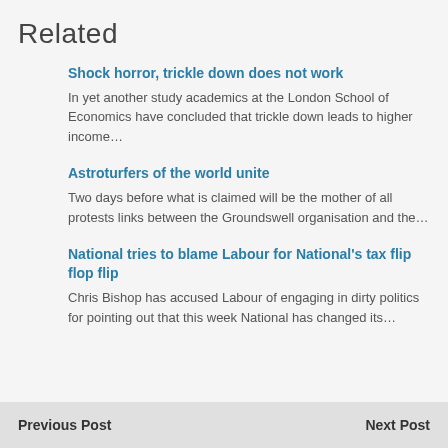Related
Shock horror, trickle down does not work
In yet another study academics at the London School of Economics have concluded that trickle down leads to higher income…
Astroturfers of the world unite
Two days before what is claimed will be the mother of all protests links between the Groundswell organisation and the…
National tries to blame Labour for National's tax flip flop flip
Chris Bishop has accused Labour of engaging in dirty politics for pointing out that this week National has changed its…
Previous Post    Next Post